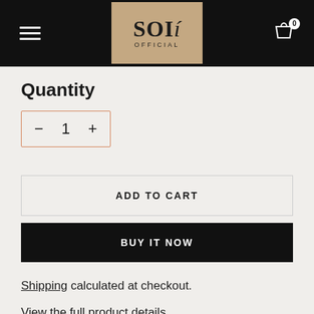[Figure (logo): SOI Official brand logo on tan/khaki background with hamburger menu and cart icon in black header navigation bar]
Quantity
[Figure (other): Quantity selector with minus button, number 1, and plus button inside an orange-bordered rectangle]
[Figure (other): ADD TO CART button with light border]
[Figure (other): BUY IT NOW button with black background and white text]
Shipping calculated at checkout.
View the full product details.